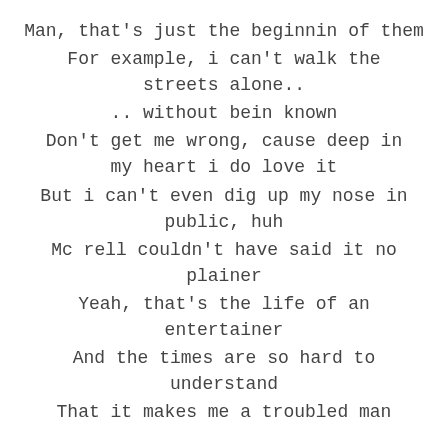Man, that's just the beginnin of them
For example, i can't walk the streets alone..
.. without bein known
Don't get me wrong, cause deep in my heart i do love it
But i can't even dig up my nose in public, huh
Mc rell couldn't have said it no plainer
Yeah, that's the life of an entertainer
And the times are so hard to understand
That it makes me a troubled man